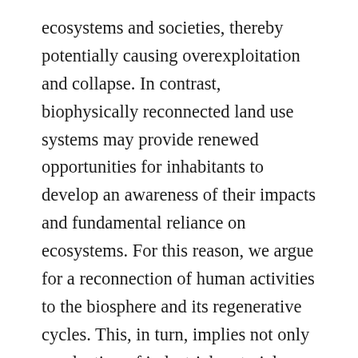ecosystems and societies, thereby potentially causing overexploitation and collapse. In contrast, biophysically reconnected land use systems may provide renewed opportunities for inhabitants to develop an awareness of their impacts and fundamental reliance on ecosystems. For this reason, we argue for a reconnection of human activities to the biosphere and its regenerative cycles. This, in turn, implies not only a reduction of industrial material use and a limitation of human domination of ecosystems, but also a strengthened sense of being connected with and knowing the limits of nature. Material realities of human-nature interactions have cognitive consequences and vice versa, e.g. perceptions and understandings of human-nature relationships might have a significant influence on how biophysical interactions are structured. For example, biophysical regional disconnectedness might foster